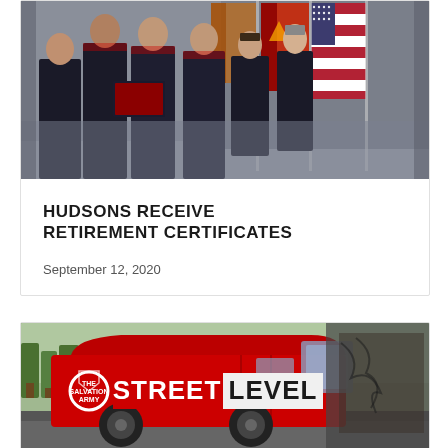[Figure (photo): Group of people in Salvation Army uniforms at a retirement ceremony, with American flags and other flags in the background. Two individuals are shaking hands and exchanging a certificate.]
HUDSONS RECEIVE RETIREMENT CERTIFICATES
September 12, 2020
[Figure (photo): Red Salvation Army van with 'STREET LEVEL' text in large letters on the side, parked outdoors with trees in the background.]